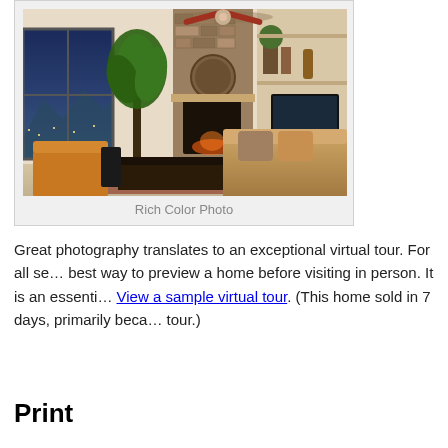[Figure (photo): Interior living room photo showing a luxurious home with stone fireplace, tropical plant, built-in shelving with TV, large windows with mountain/city view at dusk, and comfortable seating with coffee table]
Rich Color Photo
Great photography translates to an exceptional virtual tour. For all se... best way to preview a home before visiting in person. It is an essenti... View a sample virtual tour. (This home sold in 7 days, primarily beca... tour.)
Print